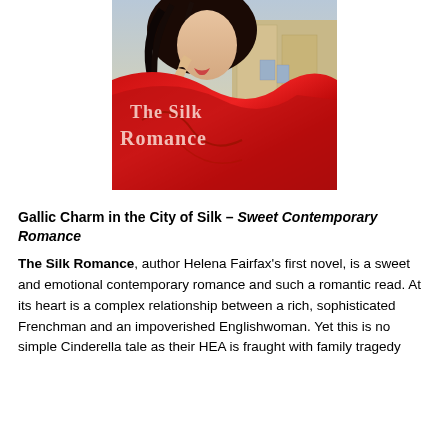[Figure (illustration): Book cover of 'The Silk Romance' showing a dark-haired woman in a red silk garment against a European street backdrop, with the title 'The Silk Romance' in large serif text overlaid on the red fabric]
Gallic Charm in the City of Silk – Sweet Contemporary Romance
The Silk Romance, author Helena Fairfax's first novel, is a sweet and emotional contemporary romance and such a romantic read. At its heart is a complex relationship between a rich, sophisticated Frenchman and an impoverished Englishwoman. Yet this is no simple Cinderella tale as their HEA is fraught with family tragedy